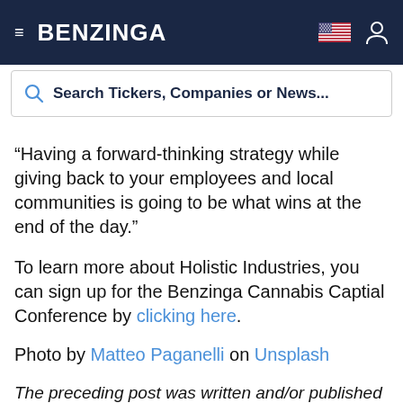BENZINGA
Search Tickers, Companies or News...
“Having a forward-thinking strategy while giving back to your employees and local communities is going to be what wins at the end of the day.”
To learn more about Holistic Industries, you can sign up for the Benzinga Cannabis Captial Conference by clicking here.
Photo by Matteo Paganelli on Unsplash
The preceding post was written and/or published as a collaboration between Benzinga’s in-house sponsored content team and a financial partner of Benzinga